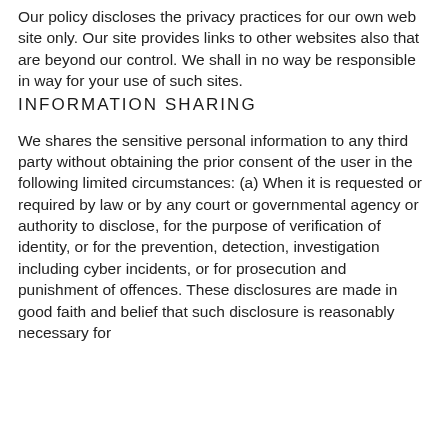Our policy discloses the privacy practices for our own web site only. Our site provides links to other websites also that are beyond our control. We shall in no way be responsible in way for your use of such sites.
INFORMATION SHARING
We shares the sensitive personal information to any third party without obtaining the prior consent of the user in the following limited circumstances: (a) When it is requested or required by law or by any court or governmental agency or authority to disclose, for the purpose of verification of identity, or for the prevention, detection, investigation including cyber incidents, or for prosecution and punishment of offences. These disclosures are made in good faith and belief that such disclosure is reasonably necessary for